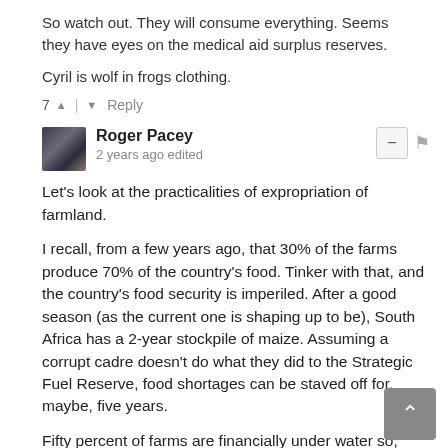So watch out. They will consume everything. Seems they have eyes on the medical aid surplus reserves.
Cyril is wolf in frogs clothing.
7 ^ | v Reply
Roger Pacey
2 years ago edited
Let's look at the practicalities of expropriation of farmland.
I recall, from a few years ago, that 30% of the farms produce 70% of the country's food. Tinker with that, and the country's food security is imperiled. After a good season (as the current one is shaping up to be), South Africa has a 2-year stockpile of maize. Assuming a corrupt cadre doesn't do what they did to the Strategic Fuel Reserve, food shortages can be staved off for, maybe, five years.
Fifty percent of farms are financially under water so, realistically, only 20% of farms should be vulnerable.